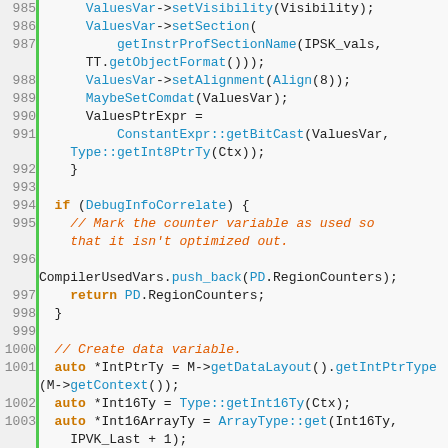[Figure (screenshot): Source code listing in a code editor showing C++ lines 985-1009, with line numbers on the left separated by a green bar, syntax highlighting in orange/blue/brown on a light gray background.]